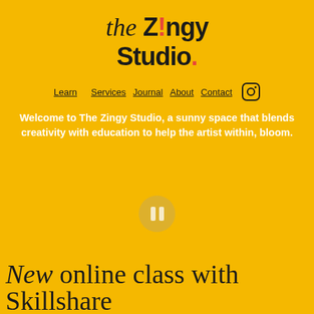the Z!ngy Studio.
Learn
Services
Journal
About
Contact
Welcome to The Zingy Studio, a sunny space that blends creativity with education to help the artist within, bloom.
[Figure (other): Circular pause/play button overlay on video area, semi-transparent on yellow background]
New online class with Skillshare